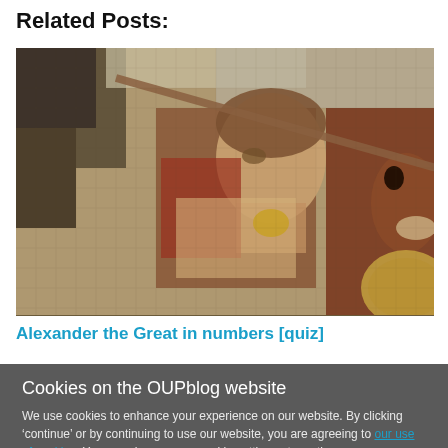Related Posts:
[Figure (photo): Ancient mosaic depicting Alexander the Great in battle, showing a warrior figure in armor with a horse]
Alexander the Great in numbers [quiz]
Cookies on the OUPblog website
We use cookies to enhance your experience on our website. By clicking ‘continue’ or by continuing to use our website, you are agreeing to our use of cookies. You can change your cookie settings at any time.
Continue